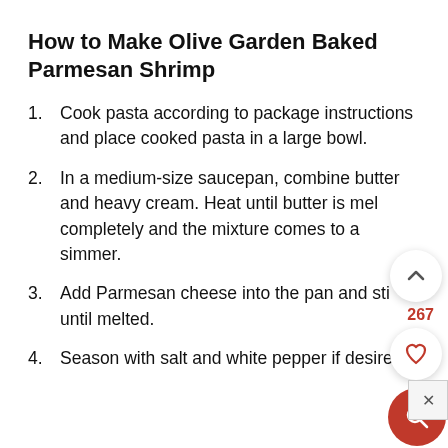How to Make Olive Garden Baked Parmesan Shrimp
Cook pasta according to package instructions and place cooked pasta in a large bowl.
In a medium-size saucepan, combine butter and heavy cream. Heat until butter is melted completely and the mixture comes to a simmer.
Add Parmesan cheese into the pan and stir until melted.
Season with salt and white pepper if desired.